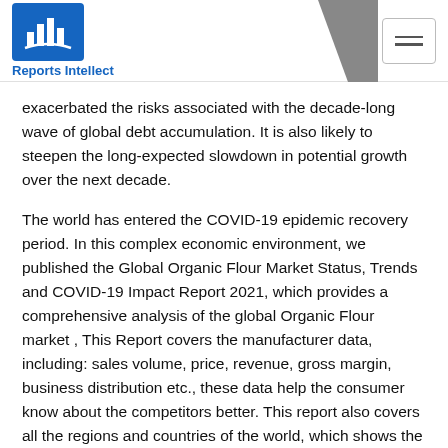Reports Intellect
exacerbated the risks associated with the decade-long wave of global debt accumulation. It is also likely to steepen the long-expected slowdown in potential growth over the next decade.
The world has entered the COVID-19 epidemic recovery period. In this complex economic environment, we published the Global Organic Flour Market Status, Trends and COVID-19 Impact Report 2021, which provides a comprehensive analysis of the global Organic Flour market , This Report covers the manufacturer data, including: sales volume, price, revenue, gross margin, business distribution etc., these data help the consumer know about the competitors better. This report also covers all the regions and countries of the world, which shows the regional development status, including market size, volume and value, as well as price data. Besides, the report also covers segment data, including: type wise,